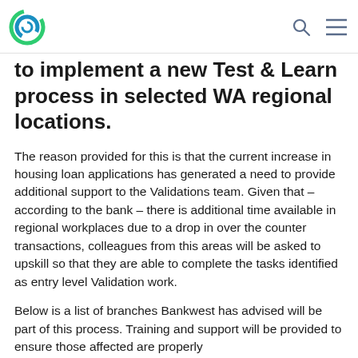[Logo] [Search icon] [Menu icon]
to implement a new Test & Learn process in selected WA regional locations.
The reason provided for this is that the current increase in housing loan applications has generated a need to provide additional support to the Validations team. Given that – according to the bank – there is additional time available in regional workplaces due to a drop in over the counter transactions, colleagues from this areas will be asked to upskill so that they are able to complete the tasks identified as entry level Validation work.
Below is a list of branches Bankwest has advised will be part of this process. Training and support will be provided to ensure those affected are properly